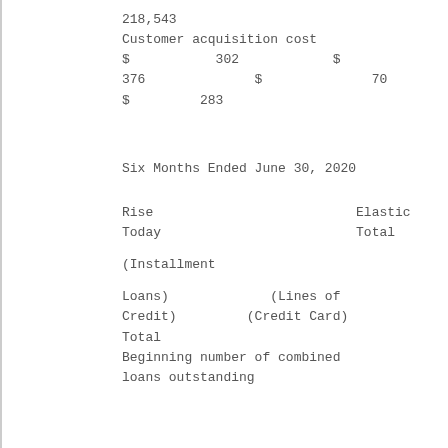218,543
Customer acquisition cost
$           302            $
376              $              70
$         283
|  | Rise Today (Installment Loans) | Elastic (Lines of Credit) | (Credit Card) | Total |
| --- | --- | --- | --- | --- |
| Six Months Ended June 30, 2020 |  |  |  |  |
| Beginning number of combined loans outstanding |  |  |  |  |